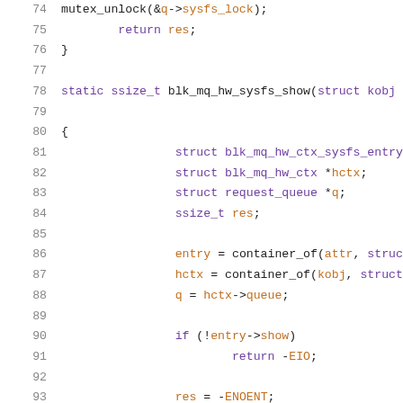[Figure (screenshot): C source code snippet showing lines 74-95 of a Linux kernel file, implementing blk_mq_hw_sysfs_show function. Syntax highlighted with line numbers on the left.]